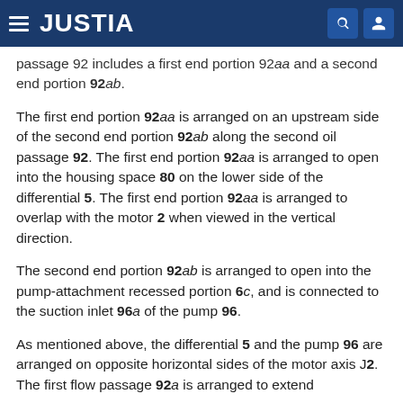JUSTIA
passage 92 includes a first end portion 92aa and a second end portion 92ab.
The first end portion 92aa is arranged on an upstream side of the second end portion 92ab along the second oil passage 92. The first end portion 92aa is arranged to open into the housing space 80 on the lower side of the differential 5. The first end portion 92aa is arranged to overlap with the motor 2 when viewed in the vertical direction.
The second end portion 92ab is arranged to open into the pump-attachment recessed portion 6c, and is connected to the suction inlet 96a of the pump 96.
As mentioned above, the differential 5 and the pump 96 are arranged on opposite horizontal sides of the motor axis J2. The first flow passage 92a is arranged to extend